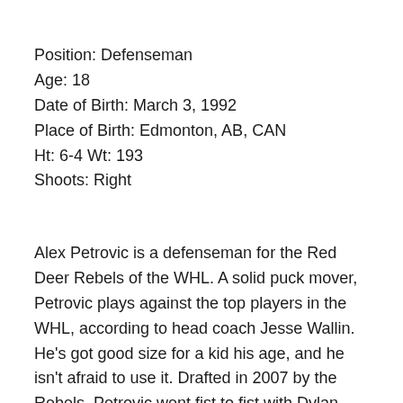Position: Defenseman
Age: 18
Date of Birth: March 3, 1992
Place of Birth: Edmonton, AB, CAN
Ht: 6-4 Wt: 193
Shoots: Right
Alex Petrovic is a defenseman for the Red Deer Rebels of the WHL. A solid puck mover, Petrovic plays against the top players in the WHL, according to head coach Jesse Wallin. He's got good size for a kid his age, and he isn't afraid to use it. Drafted in 2007 by the Rebels, Petrovic went fist to fist with Dylan McIlrath in